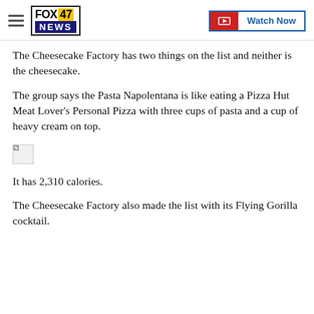FOX 47 NEWS — Watch Now
The Cheesecake Factory has two things on the list and neither is the cheesecake.
The group says the Pasta Napolentana is like eating a Pizza Hut Meat Lover's Personal Pizza with three cups of pasta and a cup of heavy cream on top.
[Figure (photo): Broken image placeholder icon]
It has 2,310 calories.
The Cheesecake Factory also made the list with its Flying Gorilla cocktail.